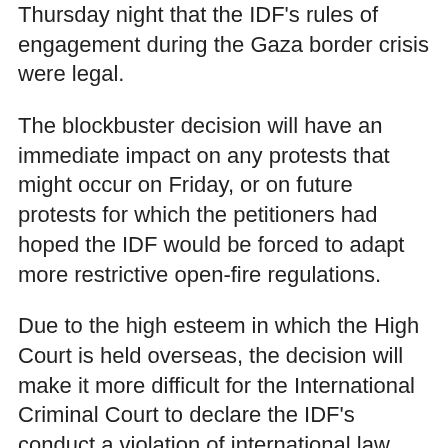Thursday night that the IDF's rules of engagement during the Gaza border crisis were legal.
The blockbuster decision will have an immediate impact on any protests that might occur on Friday, or on future protests for which the petitioners had hoped the IDF would be forced to adapt more restrictive open-fire regulations.
Due to the high esteem in which the High Court is held overseas, the decision will make it more difficult for the International Criminal Court to declare the IDF's conduct a violation of international law.
While declaring the IDF's conduct legal, the High Court's panel of President Esther Hayut, Vice President Hanan Melcer and Justice Neal Hendel did send warnings to the IDF.
It said from the large number of killed and injured Palestinians and is noted that the conduct had